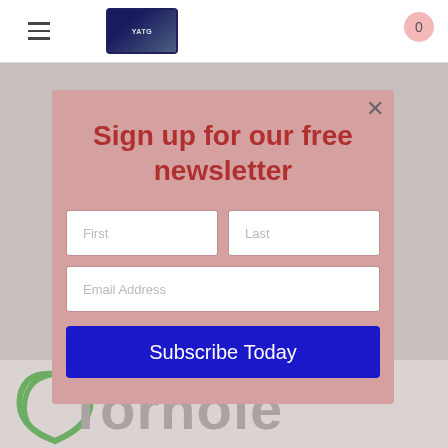[Figure (screenshot): Navigation bar with hamburger menu, logo image, and cart bubble showing 0]
Sign up for our free newsletter
First
Last
Email Address
Subscribe Today
[Figure (logo): Partial green and grey logo text visible at bottom of page reading 'Tomhole' or similar]